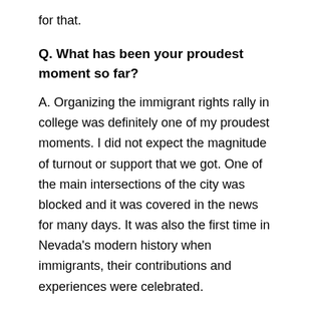for that.
Q. What has been your proudest moment so far?
A. Organizing the immigrant rights rally in college was definitely one of my proudest moments. I did not expect the magnitude of turnout or support that we got. One of the main intersections of the city was blocked and it was covered in the news for many days. It was also the first time in Nevada's modern history when immigrants, their contributions and experiences were celebrated.